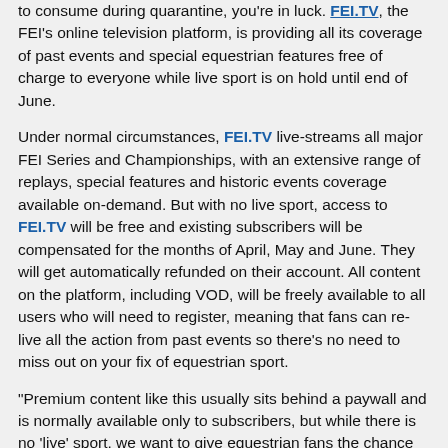to consume during quarantine, you're in luck. FEI.TV, the FEI's online television platform, is providing all its coverage of past events and special equestrian features free of charge to everyone while live sport is on hold until end of June.
Under normal circumstances, FEI.TV live-streams all major FEI Series and Championships, with an extensive range of replays, special features and historic events coverage available on-demand. But with no live sport, access to FEI.TV will be free and existing subscribers will be compensated for the months of April, May and June. They will get automatically refunded on their account. All content on the platform, including VOD, will be freely available to all users who will need to register, meaning that fans can re-live all the action from past events so there's no need to miss out on your fix of equestrian sport.
"Premium content like this usually sits behind a paywall and is normally available only to subscribers, but while there is no 'live' sport, we want to give equestrian fans the chance to binge-watch for free during this terrible pandemic," FEI Commercial Director Ralph Straus says.
Among the available content:
Longines FEI European Eventing Championships